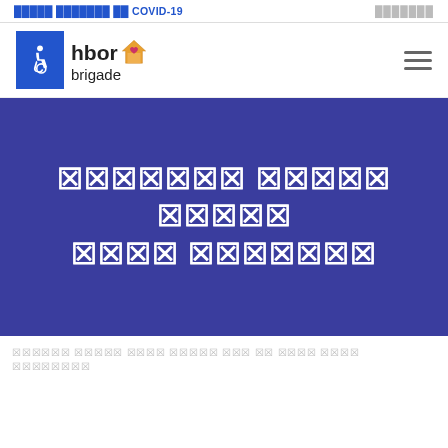█████ ███████ ██ COVID-19  ███████
[Figure (logo): Hbor Brigade logo with accessibility icon (wheelchair symbol in blue square) and house icon with heart]
███████ ████ ████ ████ ███████ (tofu/replacement characters - non-renderable text)
██████ █████ ████ █████ ██ ██ ████ ████ ████████ (tofu/replacement characters - non-renderable text at bottom)